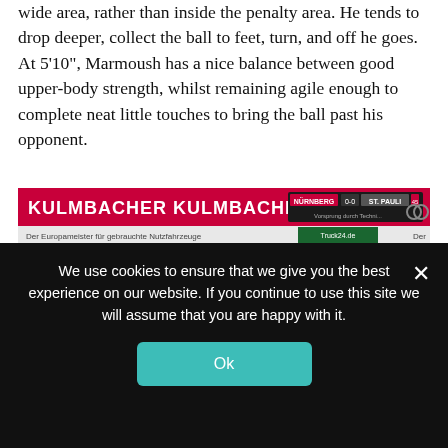wide area, rather than inside the penalty area. He tends to drop deeper, collect the ball to feet, turn, and off he goes. At 5'10", Marmoush has a nice balance between good upper-body strength, whilst remaining agile enough to complete neat little touches to bring the ball past his opponent.
[Figure (screenshot): Football match screenshot showing players on a green pitch during a Nürnberg vs St. Pauli match (0-0, 45:00). Stadium advertising boards read KULMBACHER. Tactical arrows overlay the image highlighting player movement.]
We use cookies to ensure that we give you the best experience on our website. If you continue to use this site we will assume that you are happy with it.